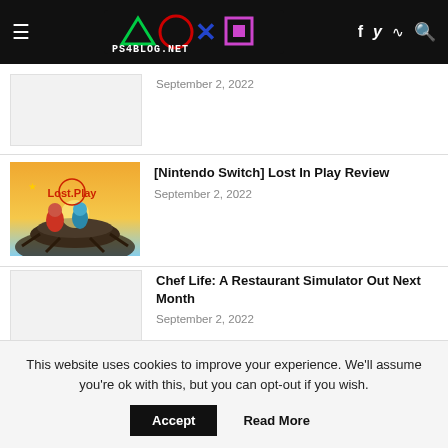PS4Blog.net header with navigation icons
September 2, 2022
[Figure (photo): Placeholder thumbnail image (gray)]
[Nintendo Switch] Lost In Play Review
September 2, 2022
[Figure (illustration): Lost In Play game cover art showing cartoon characters riding a giant beetle]
Chef Life: A Restaurant Simulator Out Next Month
September 2, 2022
[Figure (photo): Placeholder thumbnail image (gray)]
This website uses cookies to improve your experience. We'll assume you're ok with this, but you can opt-out if you wish.
Accept  Read More